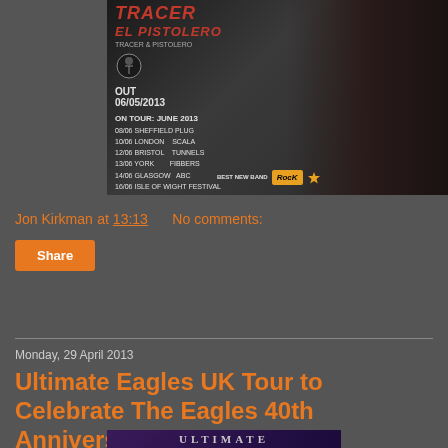[Figure (photo): Band promotional poster for 'Tracer - El Pistolero', showing three band members in profile/close-up with tour dates for June 2013 including Sheffield Plug, London Scala, Bristol Tunnels, York Fibbers, Glasgow ABC, Isle of Wight Festival. Rock Best New Band badge visible.]
Jon Kirkman at 13:13    No comments:
Share
Monday, 29 April 2013
Ultimate Eagles UK Tour to Celebrate The Eagles 40th Anniversary!
[Figure (photo): Partial image showing 'ULTIMATE' text in large letters, appears to be the Eagles tribute band promotional image with purple/dark background]